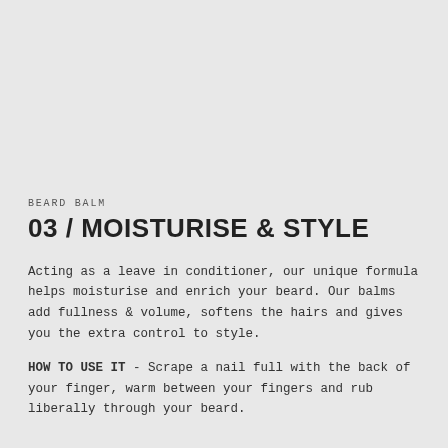BEARD BALM
03 / MOISTURISE & STYLE
Acting as a leave in conditioner, our unique formula helps moisturise and enrich your beard. Our balms add fullness & volume, softens the hairs and gives you the extra control to style.
HOW TO USE IT - Scrape a nail full with the back of your finger, warm between your fingers and rub liberally through your beard.